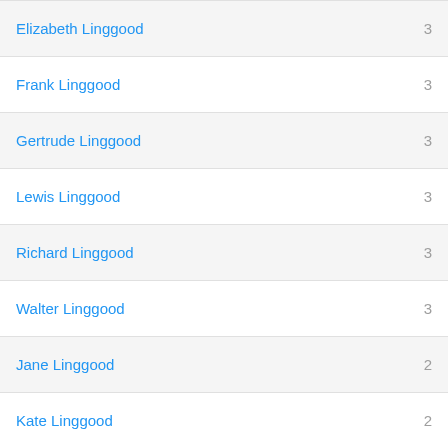Elizabeth Linggood  3
Frank Linggood  3
Gertrude Linggood  3
Lewis Linggood  3
Richard Linggood  3
Walter Linggood  3
Jane Linggood  2
Kate Linggood  2
Search for the Linggood family
Forename